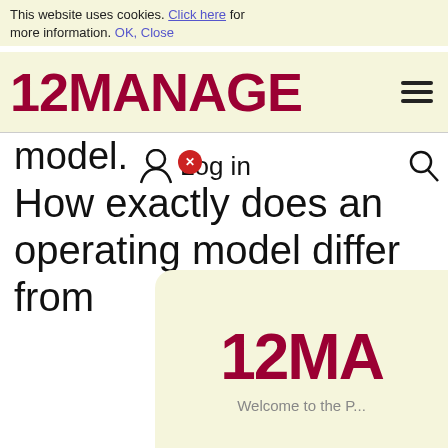This website uses cookies. Click here for more information. OK, Close
[Figure (logo): 12MANAGE logo in dark red serif bold font on cream background with hamburger menu icon]
model.
Log in
How exactly does an operating model differ from a business model? In short: a business model conceptually describes how a company creates, captures and delivers value. An operating model describes how the company actually operates to fulfill this purpose, considering business processes, organizational structure, governance, information, technology and more.
[Figure (logo): 12MA partial logo visible in popup overlay on cream/beige background with rounded top-left corner]